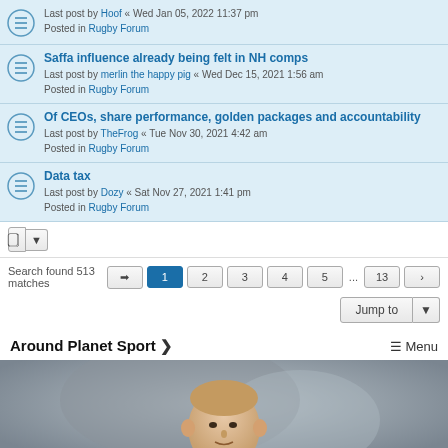Last post by Hoof « Wed Jan 05, 2022 11:37 pm
Posted in Rugby Forum
Saffa influence already being felt in NH comps
Last post by merlin the happy pig « Wed Dec 15, 2021 1:56 am
Posted in Rugby Forum
Of CEOs, share performance, golden packages and accountability
Last post by TheFrog « Tue Nov 30, 2021 4:42 am
Posted in Rugby Forum
Data tax
Last post by Dozy « Sat Nov 27, 2021 1:41 pm
Posted in Rugby Forum
Search found 513 matches
Around Planet Sport > ☰ Menu
[Figure (photo): Photograph of a rugby player, close-up face and upper body, wearing dark clothing, blurred grey background]